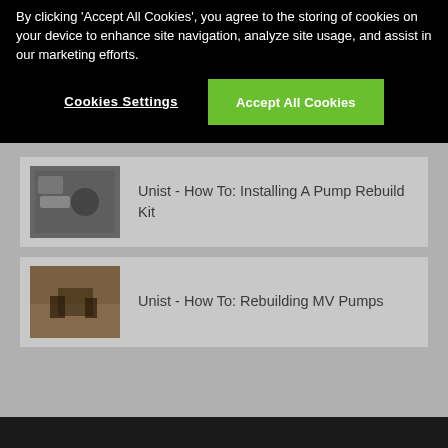By clicking 'Accept All Cookies', you agree to the storing of cookies on your device to enhance site navigation, analyze site usage, and assist in our marketing efforts.
Cookies Settings
Accept All Cookies
[Figure (photo): Thumbnail image of hands working on a pump rebuild kit on a workbench]
Unist - How To: Installing A Pump Rebuild Kit
[Figure (photo): Thumbnail image of hands working on MV pump components on a workbench]
Unist - How To: Rebuilding MV Pumps
Can't find the answer?